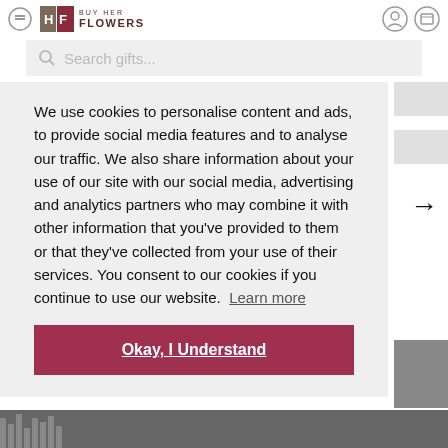BUY HER FLOWERS [logo] [icons]
Search gifts...
We use cookies to personalise content and ads, to provide social media features and to analyse our traffic. We also share information about your use of our site with our social media, advertising and analytics partners who may combine it with other information that you've provided to them or that they've collected from your use of their services. You consent to our cookies if you continue to use our website.  Learn more
Okay, I Understand